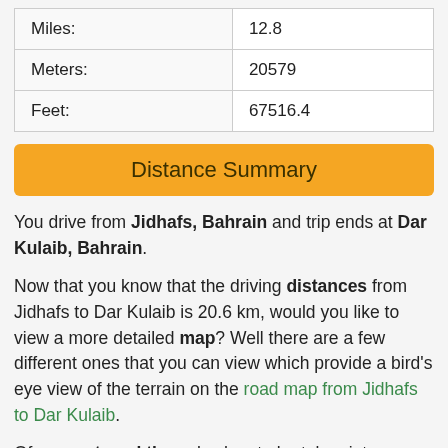| Miles: | 12.8 |
| Meters: | 20579 |
| Feet: | 67516.4 |
Distance Summary
You drive from Jidhafs, Bahrain and trip ends at Dar Kulaib, Bahrain.
Now that you know that the driving distances from Jidhafs to Dar Kulaib is 20.6 km, would you like to view a more detailed map? Well there are a few different ones that you can view which provide a bird's eye view of the terrain on the road map from Jidhafs to Dar Kulaib.
Of course travel time also has to be taken into consideration when preparing for a trip which is why